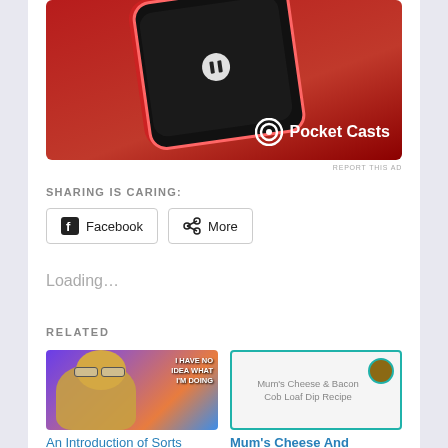[Figure (photo): Pocket Casts advertisement showing a red smartphone on a red background with the Pocket Casts logo in white]
REPORT THIS AD
SHARING IS CARING:
Facebook
More
Loading...
RELATED
[Figure (photo): Meme image of a golden retriever dog in a lab setting with text 'I HAVE NO IDEA WHAT I'M DOING']
An Introduction of Sorts
September 20, 2018
[Figure (photo): Recipe card image with teal border and text 'Mum's Cheese & Bacon Cob Loaf Dip Recipe']
Mum's Cheese And Bacon Cob Loaf Dip